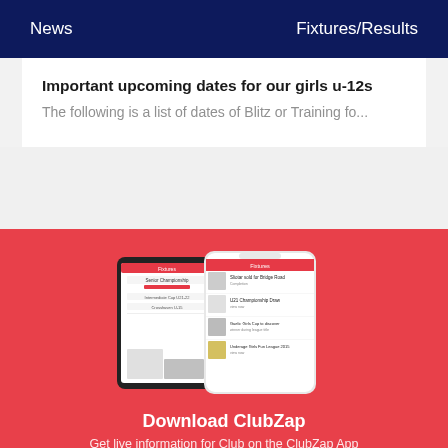News   Fixtures/Results
Important upcoming dates for our girls u-12s
The following is a list of dates of Blitz or Training fo...
[Figure (screenshot): ClubZap app screenshot showing two phone mockups with fixtures and news screens]
Download ClubZap
Get live information for Club on the ClubZap App
App Store   Google Play